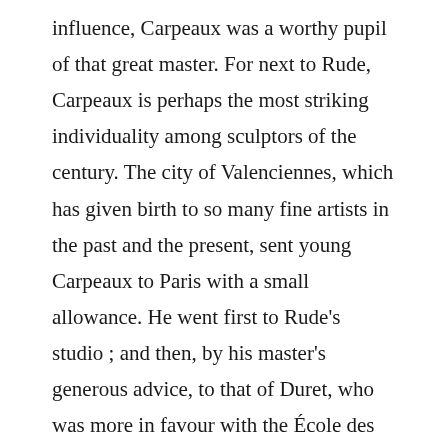influence, Carpeaux was a worthy pupil of that great master. For next to Rude, Carpeaux is perhaps the most striking individuality among sculptors of the century. The city of Valenciennes, which has given birth to so many fine artists in the past and the present, sent young Carpeaux to Paris with a small allowance. He went first to Rude’s studio ; and then, by his master’s generous advice, to that of Duret, who was more in favour with the École des Beaux Arts, which Carpeaux entered in 1844. Ten years later he gained the grand prix de Rome. His first envoi from the Villa Medicis was a “ Petit Pêcheur à la Coquille ”�evidently inspired by Rude’s delicious “ Petit Pêcheur “. But it was Michael Angelo whose genius affected him most deeply in Rome. And after the Fisher boy, he threw himself with passion into his group of “ Ugolino “ in which the influence of Michael